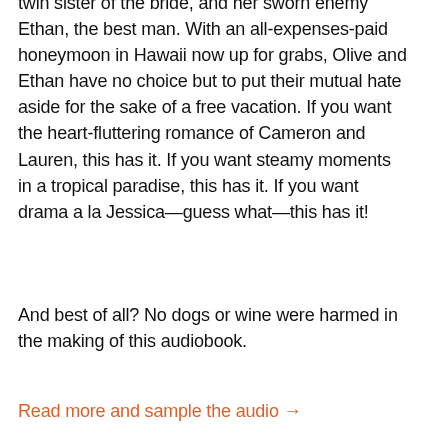twin sister of the bride, and her sworn enemy Ethan, the best man. With an all-expenses-paid honeymoon in Hawaii now up for grabs, Olive and Ethan have no choice but to put their mutual hate aside for the sake of a free vacation. If you want the heart-fluttering romance of Cameron and Lauren, this has it. If you want steamy moments in a tropical paradise, this has it. If you want drama a la Jessica—guess what—this has it!
And best of all? No dogs or wine were harmed in the making of this audiobook.
Read more and sample the audio →